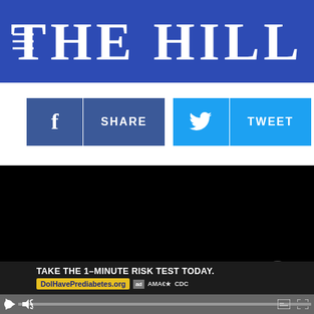THE HILL
[Figure (screenshot): Social sharing buttons: Facebook Share, Twitter Tweet, and More options]
[Figure (screenshot): Embedded video player showing a black/blank video frame with playback controls and a prediabetes advertisement overlay at the bottom reading TAKE THE 1-MINUTE RISK TEST TODAY. DolHavePrediabetes.org]